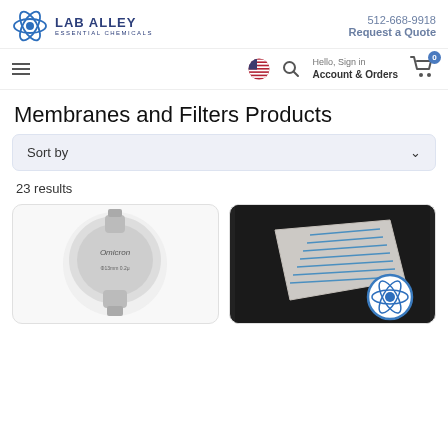LAB ALLEY ESSENTIAL CHEMICALS | 512-668-9918 | Request a Quote
Hello, Sign in Account & Orders | 0
Membranes and Filters Products
Sort by
23 results
[Figure (photo): Product photo of a syringe filter labeled Omicron]
[Figure (photo): Product photo of a membrane/filter pack on dark background with Lab Alley logo overlay]